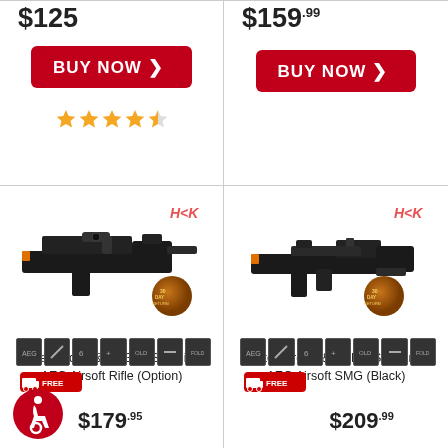$125
[Figure (other): Red BUY NOW button with right arrow]
[Figure (other): 4.5 star rating (gold stars)]
$159.99
[Figure (other): Red BUY NOW button with right arrow]
[Figure (photo): Elite Force H&K G36C Sportline AEG Airsoft Rifle product image with HK logo, feature icons strip, free shipping badge, and deal badge]
Elite Force H&K G36C Sportline AEG Airsoft Rifle (Option)
$179.95
[Figure (photo): Elite Force H&K UMP Sportline AEG Airsoft SMG (Black) product image with HK logo, feature icons strip, free shipping badge, and deal badge]
Elite Force H&K UMP Sportline AEG Airsoft SMG (Black)
$209.99